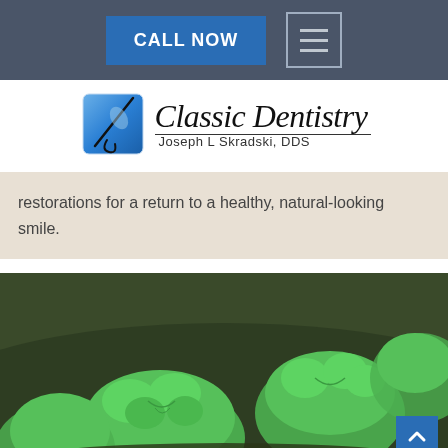CALL NOW | Navigation Menu
[Figure (logo): Classic Dentistry logo with blue square icon and script text, Joseph L Skradski, DDS]
restorations for a return to a healthy, natural-looking smile.
[Figure (photo): 3D rendered green teeth/dental molars on dark green background with back-to-top button overlay]